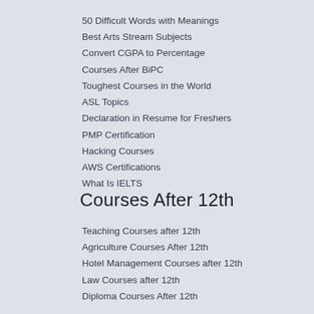50 Difficult Words with Meanings
Best Arts Stream Subjects
Convert CGPA to Percentage
Courses After BiPC
Toughest Courses in the World
ASL Topics
Declaration in Resume for Freshers
PMP Certification
Hacking Courses
AWS Certifications
What Is IELTS
Courses After 12th
Teaching Courses after 12th
Agriculture Courses After 12th
Hotel Management Courses after 12th
Law Courses after 12th
Diploma Courses After 12th